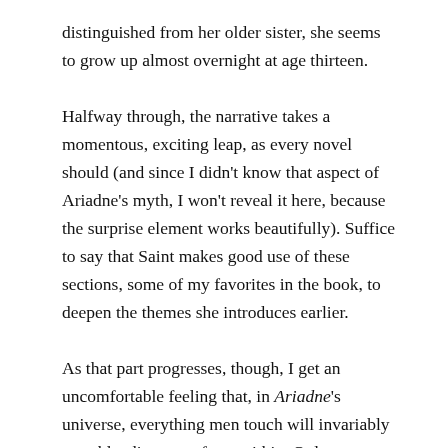distinguished from her older sister, she seems to grow up almost overnight at age thirteen.
Halfway through, the narrative takes a momentous, exciting leap, as every novel should (and since I didn't know that aspect of Ariadne's myth, I won't reveal it here, because the surprise element works beautifully). Suffice to say that Saint makes good use of these sections, some of my favorites in the book, to deepen the themes she introduces earlier.
As that part progresses, though, I get an uncomfortable feeling that, in Ariadne's universe, everything men touch will invariably crumble, die, or rot from within. Only women